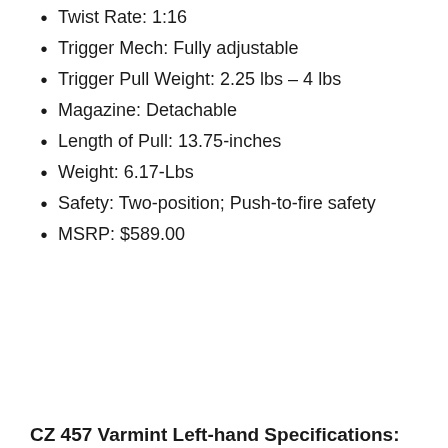Twist Rate: 1:16
Trigger Mech: Fully adjustable
Trigger Pull Weight: 2.25 lbs – 4 lbs
Magazine: Detachable
Length of Pull: 13.75-inches
Weight: 6.17-Lbs
Safety: Two-position; Push-to-fire safety
MSRP: $589.00
CZ 457 Varmint Left-hand Specifications: